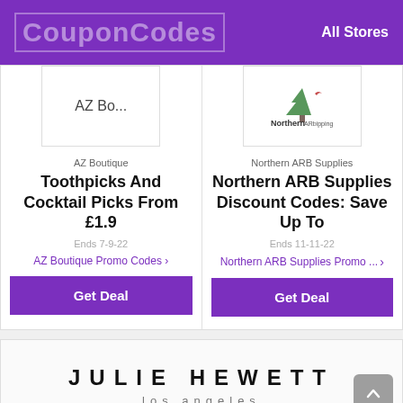CouponCodes | All Stores
[Figure (logo): CouponCodes logo — stylized text in purple header]
All Stores
AZ Bo...
AZ Boutique
Toothpicks And Cocktail Picks From £1.9
Ends 7-9-22
AZ Boutique Promo Codes >
Get Deal
[Figure (logo): Northern ARB shipping logo with tree and bird icon]
Northern ARB Supplies
Northern ARB Supplies Discount Codes: Save Up To
Ends 11-11-22
Northern ARB Supplies Promo ... >
Get Deal
[Figure (logo): Julie Hewett Los Angeles brand logo in large spaced serif typography]
Continue to juliehewett.net